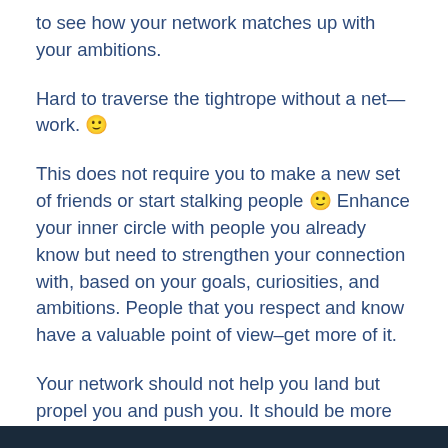to see how your network matches up with your ambitions.
Hard to traverse the tightrope without a net—work. 🙂
This does not require you to make a new set of friends or start stalking people 🙂 Enhance your inner circle with people you already know but need to strengthen your connection with, based on your goals, curiosities, and ambitions. People that you respect and know have a valuable point of view–get more of it.
Your network should not help you land but propel you and push you. It should be more of a rocket pack than a parachute.